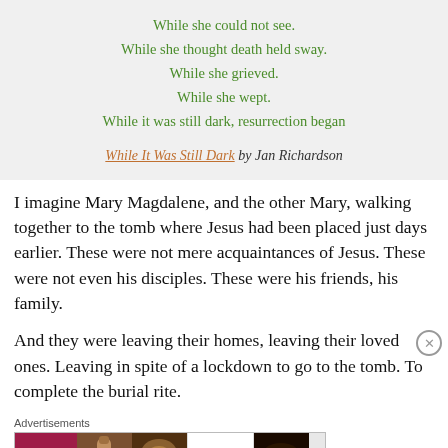While she could not see.
While she thought death held sway.
While she grieved.
While she wept.
While it was still dark, resurrection began
While It Was Still Dark by Jan Richardson
I imagine Mary Magdalene, and the other Mary, walking together to the tomb where Jesus had been placed just days earlier. These were not mere acquaintances of Jesus. These were not even his disciples. These were his friends, his family.
And they were leaving their homes, leaving their loved ones. Leaving in spite of a lockdown to go to the tomb. To complete the burial rite.
[Figure (other): Advertisements banner showing ULTA beauty advertisement with makeup photos and SHOP NOW button]